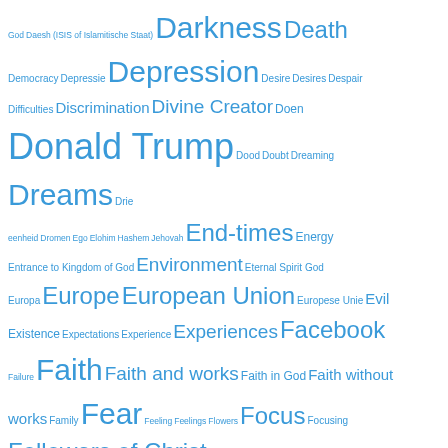[Figure (other): Word cloud / tag cloud with terms related to religion, society, and current events rendered in varying sizes in blue color. Larger words appear more frequently. Terms include: God, Daesh (ISIS of Islamitische Staat), Darkness, Death, Democracy, Depressie, Depression, Desire, Desires, Despair, Difficulties, Discrimination, Divine Creator, Doen, Donald Trump, Dood, Doubt, Dreaming, Dreams, Drie, eenheid, Dromen, Ego, Elohim, Hashem, Jehovah, End-times, Energy, Entrance to Kingdom of God, Environment, Eternal Spirit God, Europa, Europe, European Union, Europese Unie, Evil, Existence, Expectations, Experience, Experiences, Facebook, Failure, Faith, Faith and works, Faith in God, Faith without works, Family, Fear, Feeling, Feelings, Flowers, Focus, Focusing, Followers of Christ, Following Jesus Christ, Food.]